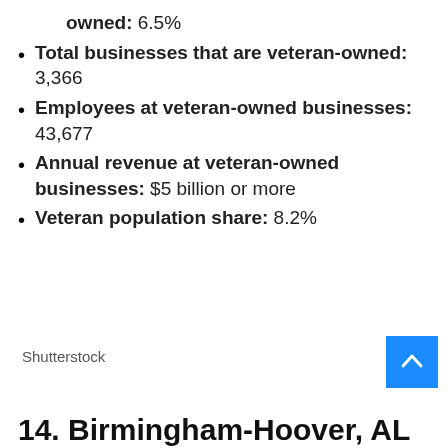owned: 6.5%
Total businesses that are veteran-owned: 3,366
Employees at veteran-owned businesses: 43,677
Annual revenue at veteran-owned businesses: $5 billion or more
Veteran population share: 8.2%
Shutterstock
14. Birmingham-Hoover, AL